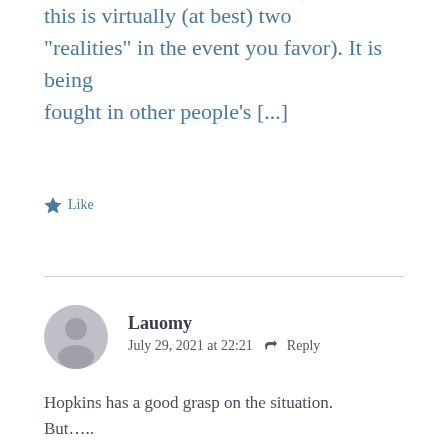this is virtually (at best) two “realities” in the event you favor). It is being fought in other people’s […]
★ Like
Lauomy
July 29, 2021 at 22:21  Reply
Hopkins has a good grasp on the situation. But…..
The fact that evil people rule is only ONE part